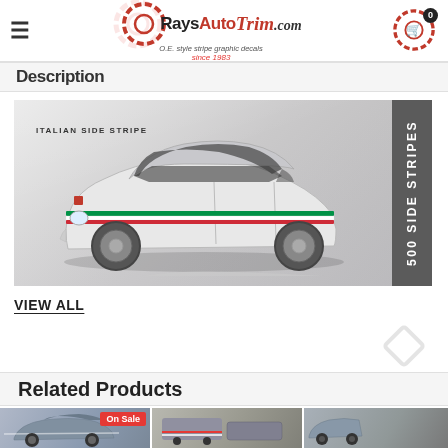RaysAutoTrim.com — O.E. style stripe graphic decals since 1983
Description
[Figure (photo): Fiat 500 compact car with Italian side stripes decal applied, shown from side angle. Label reads 'ITALIAN SIDE STRIPES'. Banner on right side reads '500 SIDE STRIPES'.]
VIEW ALL
Related Products
[Figure (photo): Product thumbnail showing a car with hood stripe, with 'On Sale' badge]
[Figure (photo): Product thumbnail showing rear of a car with stripe]
[Figure (photo): Product thumbnail showing partial view of a car]